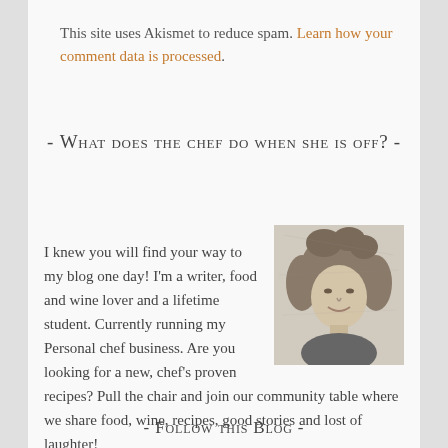This site uses Akismet to reduce spam. Learn how your comment data is processed.
- What does the chef do when she is off? -
I knew you will find your way to my blog one day! I'm a writer, food and wine lover and a lifetime student. Currently running my Personal chef business. Are you looking for a new, chef's proven recipes? Pull the chair and join our community table where we share food, wine, recipes, good stories and lost of laughter!
[Figure (photo): Black and white portrait photo of a woman with curly hair, smiling]
- Follow this Blog -